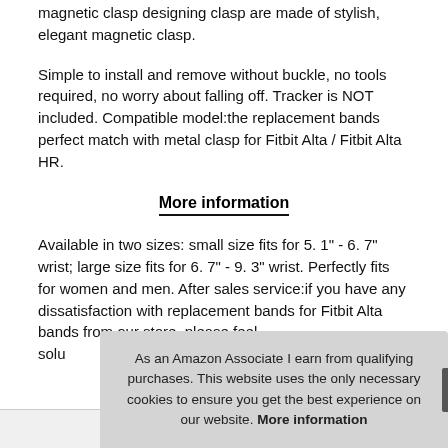magnetic clasp designing clasp are made of stylish, elegant magnetic clasp.
Simple to install and remove without buckle, no tools required, no worry about falling off. Tracker is NOT included. Compatible model:the replacement bands perfect match with metal clasp for Fitbit Alta / Fitbit Alta HR.
More information
Available in two sizes: small size fits for 5. 1" - 6. 7" wrist; large size fits for 6. 7" - 9. 3" wrist. Perfectly fits for women and men. After sales service:if you have any dissatisfaction with replacement bands for Fitbit Alta bands from our store, please feel solu
As an Amazon Associate I earn from qualifying purchases. This website uses the only necessary cookies to ensure you get the best experience on our website. More information